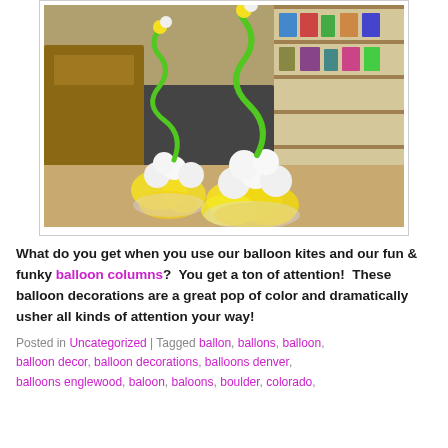[Figure (photo): Photo of two balloon centerpiece arrangements in a retail store. Each arrangement has yellow balloons at the base wrapped in clear cellophane, white balloons clustered in the middle, and a curly green balloon spiral on top with a small yellow and white balloon at the tip. The store shelves with merchandise are visible in the background.]
What do you get when you use our balloon kites and our fun & funky balloon columns?  You get a ton of attention!  These balloon decorations are a great pop of color and dramatically usher all kinds of attention your way!
Posted in Uncategorized | Tagged ballon, ballons, balloon, balloon decor, balloon decorations, balloons denver, balloons englewood, baloon, baloons, boulder, colorado,